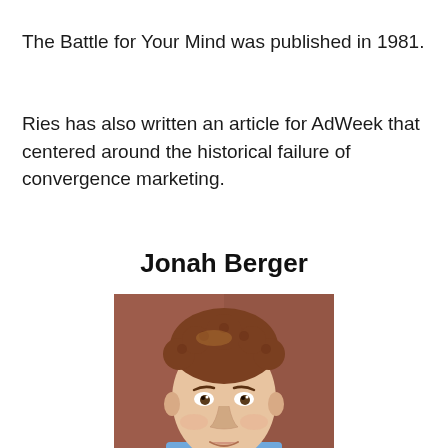The Battle for Your Mind was published in 1981.
Ries has also written an article for AdWeek that centered around the historical failure of convergence marketing.
Jonah Berger
[Figure (photo): Portrait photograph of Jonah Berger, a young man with curly reddish-brown hair, wearing a blue checkered shirt, photographed against a reddish-brown wall background.]